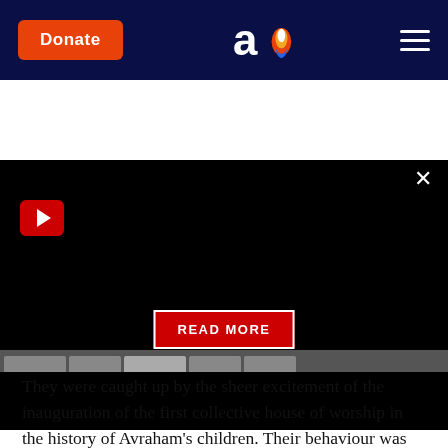Donate | Aish.com | Menu
[Figure (screenshot): Dark video panel with red play button icon, READ MORE button, and close X button]
They were caught up by the sheer excitement of the inauguration of the first collective house of worship in the history of Avraham's children. Their behaviour was spontaneous. They wanted to do something extra, uncommanded, to express their religious fervour.
What was wrong with that? Moshe had acted spontaneously when he broke the tablets after the sin of the Golden Calf. Centuries later, David would act